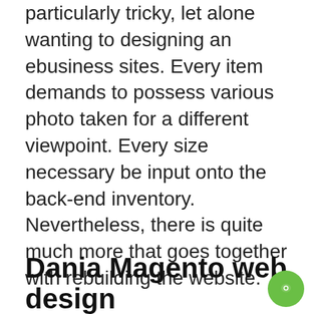particularly tricky, let alone wanting to designing an ebusiness sites. Every item demands to possess various photo taken for a different viewpoint. Every size necessary be input onto the back-end inventory. Nevertheless, there is quite much more that goes together with rebuilding the website. Geografixx makes constructing an ecommerce page effortless for your business enterprise. We can build you an e-commerce site on the Shopify or WordPress structure. We propose constructing ecommerce websites on Shopify because the complete platform is formalized around e-business. Unless your industry require larger designing requirements Shopify is the top way to go.
Dania Magento web design